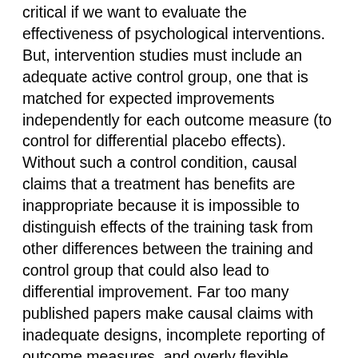critical if we want to evaluate the effectiveness of psychological interventions. But, intervention studies must include an adequate active control group, one that is matched for expected improvements independently for each outcome measure (to control for differential placebo effects). Without such a control condition, causal claims that a treatment has benefits are inappropriate because it is impossible to distinguish effects of the training task from other differences between the training and control group that could also lead to differential improvement. Far too many published papers make causal claims with inadequate designs, incomplete reporting of outcome measures, and overly flexible analyses.
In this case, the inadequacy of the limited-contact control condition (without acknowledging these limitations) alone would be sufficient grounds for an editor to reject this paper. Reviewers and editors need to step up and begin requiring adequate